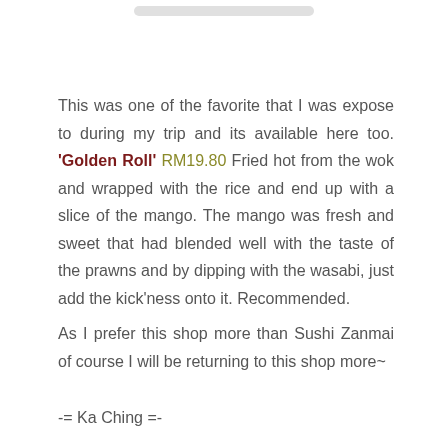This was one of the favorite that I was expose to during my trip and its available here too. 'Golden Roll' RM19.80 Fried hot from the wok and wrapped with the rice and end up with a slice of the mango. The mango was fresh and sweet that had blended well with the taste of the prawns and by dipping with the wasabi, just add the kick'ness onto it. Recommended.
As I prefer this shop more than Sushi Zanmai of course I will be returning to this shop more~
-= Ka Ching =-